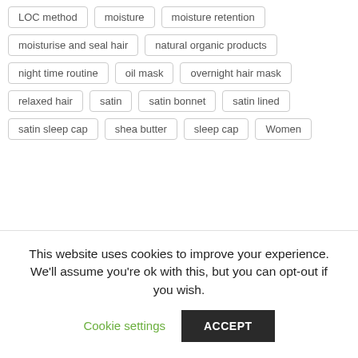LOC method
moisture
moisture retention
moisturise and seal hair
natural organic products
night time routine
oil mask
overnight hair mask
relaxed hair
satin
satin bonnet
satin lined
satin sleep cap
shea butter
sleep cap
Women
This website uses cookies to improve your experience. We'll assume you're ok with this, but you can opt-out if you wish.
Cookie settings
ACCEPT